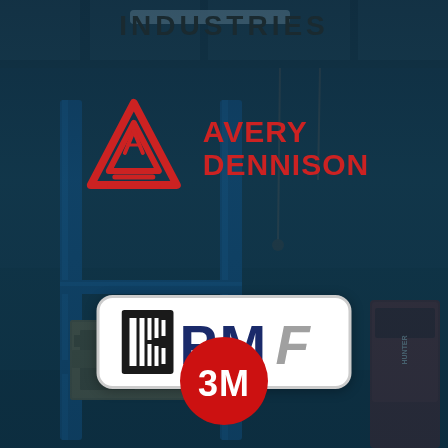INDUSTRIES
[Figure (logo): Avery Dennison logo — red triangular icon with stylized A and two horizontal lines inside, next to red bold text AVERY DENNISON on two lines]
[Figure (logo): KPMF logo — white rounded rectangle badge with black K icon (vertical bars) and dark blue bold PMF text with grey italic F]
[Figure (logo): 3M logo — red circle with bold white 3M text]